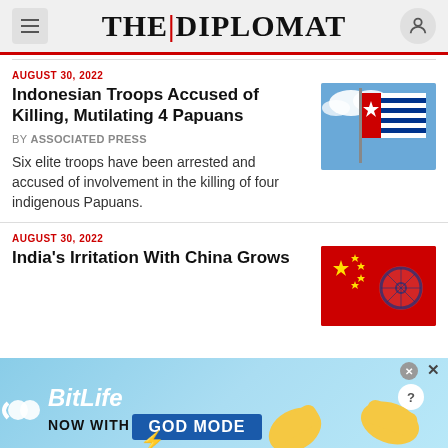THE DIPLOMAT
AUGUST 30, 2022
Indonesian Troops Accused of Killing, Mutilating 4 Papuans
By ASSOCIATED PRESS
Six elite troops have been arrested and accused of involvement in the killing of four indigenous Papuans.
[Figure (photo): Papuan Morning Star flag against blue sky with clouds]
AUGUST 30, 2022
India's Irritation With China Grows
[Figure (photo): Chinese flag with Indian Ashoka Chakra emblem overlay]
[Figure (advertisement): BitLife - Now With God Mode advertisement banner]